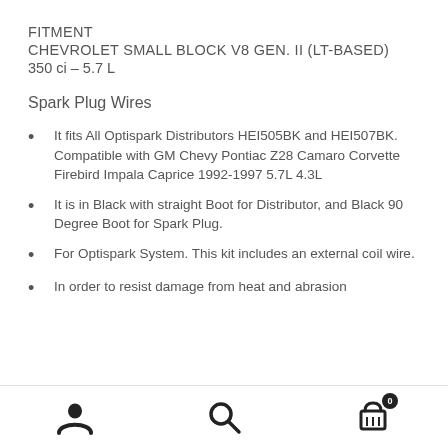FITMENT
CHEVROLET SMALL BLOCK V8 GEN. II (LT-BASED)
350 ci – 5.7 L
Spark Plug Wires
It fits All Optispark Distributors HEI505BK and HEI507BK. Compatible with GM Chevy Pontiac Z28 Camaro Corvette Firebird Impala Caprice 1992-1997 5.7L 4.3L
It is in Black with straight Boot for Distributor, and Black 90 Degree Boot for Spark Plug.
For Optispark System. This kit includes an external coil wire.
In order to resist damage from heat and abrasion